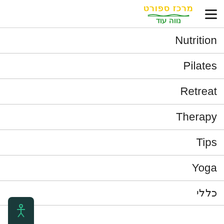מרכז ספורט נווה עוד
Nutrition
Pilates
Retreat
Therapy
Tips
Yoga
כללי
[Figure (illustration): Accessibility icon button: dark teal rounded rectangle with a person figure in teal outline]